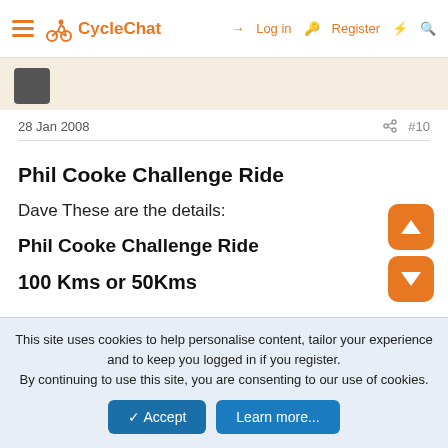CycleChat  Log in  Register
28 Jan 2008  #10
Phil Cooke Challenge Ride
Dave These are the details:
Phil Cooke Challenge Ride
100 Kms or 50Kms
Dunchurch-Towcester-Dunchurch
This site uses cookies to help personalise content, tailor your experience and to keep you logged in if you register. By continuing to use this site, you are consenting to our use of cookies.